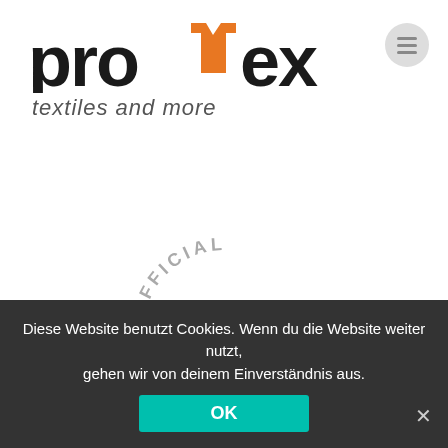[Figure (logo): Protex logo with orange T-shirt icon between 'pro' and 'ex' in bold black lettering, with tagline 'textiles and more' beneath]
[Figure (logo): Stanley/Stella Official Dealer badge in gray with 'OFFICIAL' curved at top, 'STANLEY/STELLA' in dark bold center, 'DEALER' curved at bottom]
sent a few sales messages into a quantity of ladies.
Diese Website benutzt Cookies. Wenn du die Website weiter nutzt, gehen wir von deinem Einverständnis aus.